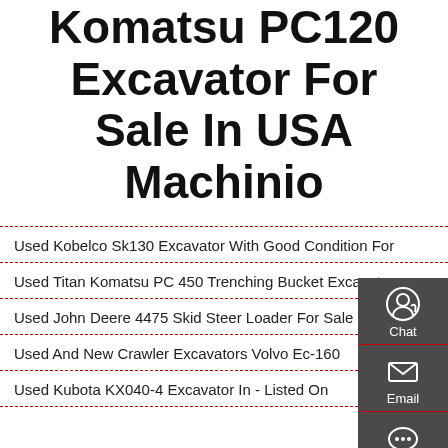Komatsu PC120 Excavator For Sale In USA Machinio
Used Kobelco Sk130 Excavator With Good Condition For
Used Titan Komatsu PC 450 Trenching Bucket Excavato
Used John Deere 4475 Skid Steer Loader For Sale
Used And New Crawler Excavators Volvo Ec-160
Used Kubota KX040-4 Excavator In - Listed On